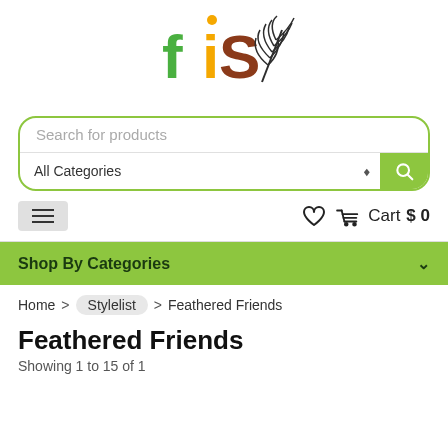[Figure (logo): FiS logo with stylized letters in green, yellow and brown, with a palm leaf illustration to the right]
Search for products
All Categories
Cart $0
Shop By Categories
Home > Stylelist > Feathered Friends
Feathered Friends
Showing 1 to 15 of 1